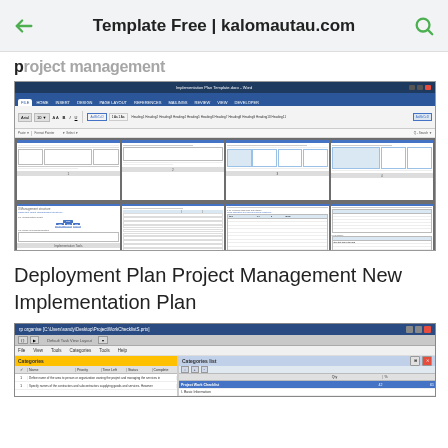Template Free | kalomautau.com
Deployment Plan Project Management New Implementation Plan
[Figure (screenshot): Microsoft Word application showing a deployment plan document with multiple pages visible in a grid view, including tables, an organizational chart, and various formatted sections with blue headers.]
[Figure (screenshot): A project management task checklist application window showing categories panel on the left, a task list with columns for Name, Priority, Time Left, Status, and Complete, and a Categories list on the right.]